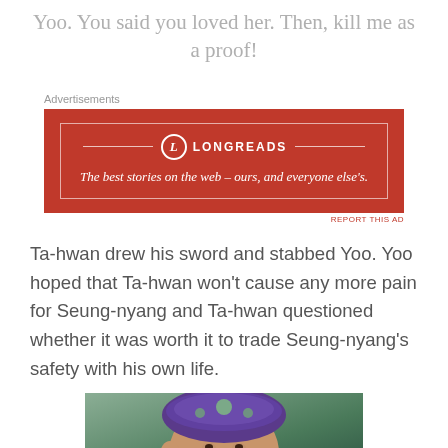Yoo. You said you loved her. Then, kill me as a proof!
[Figure (other): Longreads advertisement banner: red background with white border, Longreads logo with circle L, tagline 'The best stories on the web — ours, and everyone else's.']
Ta-hwan drew his sword and stabbed Yoo. Yoo hoped that Ta-hwan won't cause any more pain for Seung-nyang and Ta-hwan questioned whether it was worth it to trade Seung-nyang's safety with his own life.
[Figure (photo): Close-up photo of a man wearing a purple/blue traditional headpiece with decorative pattern. MBC watermark in bottom right corner. Background is green.]